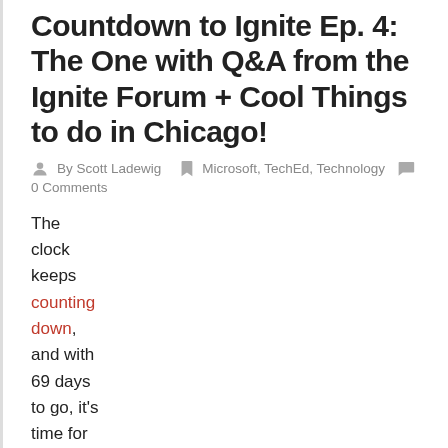Countdown to Ignite Ep. 4: The One with Q&A from the Ignite Forum + Cool Things to do in Chicago!
By Scott Ladewig  Microsoft, TechEd, Technology  0 Comments
The clock keeps counting down, and with 69 days to go, it's time for episode four of the